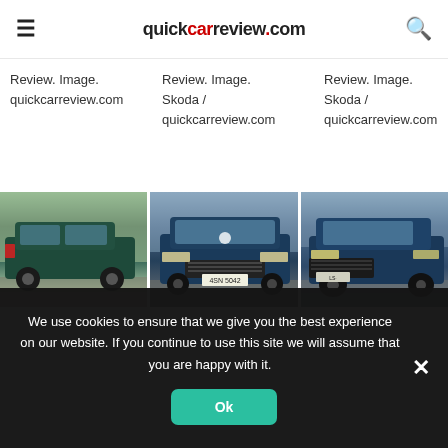quickcarreview.com
Review. Image. quickcarreview.com
Review. Image. Skoda / quickcarreview.com
Review. Image. Skoda / quickcarreview.com
[Figure (photo): Three side-by-side photos of a dark blue Skoda Superb Estate wagon: rear 3/4 view with flowers, front 3/4 view with license plate 4SN 5042, and front 3/4 view from opposite angle.]
We use cookies to ensure that we give you the best experience on our website. If you continue to use this site we will assume that you are happy with it.